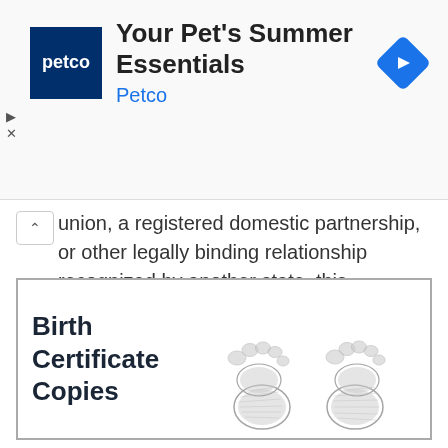[Figure (screenshot): Petco advertisement banner: Petco logo (white text on dark blue square), title 'Your Pet's Summer Essentials', brand name 'Petco' in blue, and a blue diamond arrow icon on the right. Play and close controls on left side.]
union, a registered domestic partnership, or other legally binding relationship recognized by another state, this relationship must be legally dissolved (meaning your divorce must be final) before applying for a Massachusetts marriage license.
[Figure (illustration): Birth Certificate Copies promotional box with bold text 'Birth Certificate Copies' on the left and two baby footprint illustrations in pencil/sketch style on the right.]